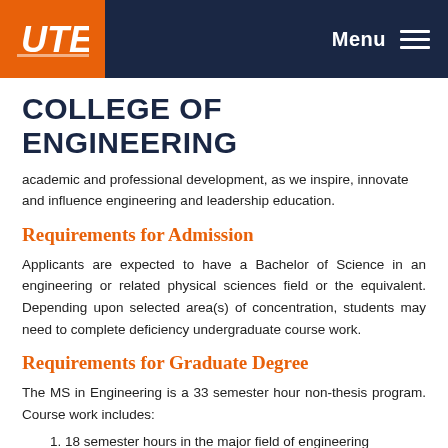UTEP — Menu
COLLEGE OF ENGINEERING
academic and professional development, as we inspire, innovate and influence engineering and leadership education.
Requirements for Admission
Applicants are expected to have a Bachelor of Science in an engineering or related physical sciences field or the equivalent. Depending upon selected area(s) of concentration, students may need to complete deficiency undergraduate course work.
Requirements for Graduate Degree
The MS in Engineering is a 33 semester hour non-thesis program. Course work includes:
1. 18 semester hours in the major field of engineering